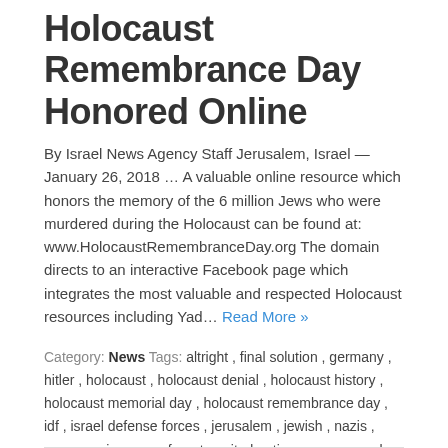Holocaust Remembrance Day Honored Online
By Israel News Agency Staff Jerusalem, Israel — January 26, 2018 … A valuable online resource which honors the memory of the 6 million Jews who were murdered during the Holocaust can be found at: www.HolocaustRemembranceDay.org The domain directs to an interactive Facebook page which integrates the most valuable and respected Holocaust resources including Yad… Read More »
Category: News Tags: altright , final solution , germany , hitler , holocaust , holocaust denial , holocaust history , holocaust memorial day , holocaust remembrance day , idf , israel defense forces , jerusalem , jewish , nazis , never again , never forget , united nations , we remember , yad vashem